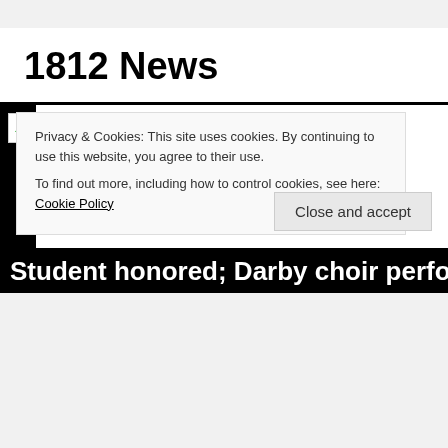1812 News
[Figure (photo): Broken image placeholder with white background and black banner area]
Privacy & Cookies: This site uses cookies. By continuing to use this website, you agree to their use.
To find out more, including how to control cookies, see here: Cookie Policy
Close and accept
Student honored; Darby choir performs a